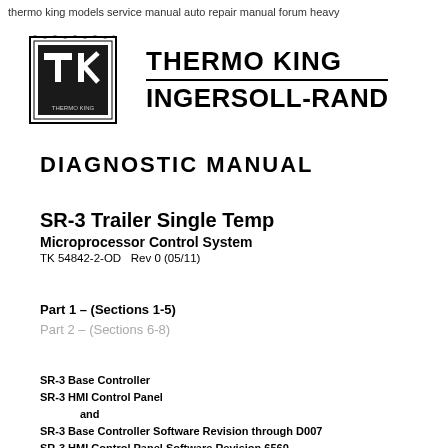thermo king models service manual auto repair manual forum heavy
[Figure (logo): Thermo King TK logo in black square with decorative border, alongside THERMO KING / INGERSOLL-RAND brand text with horizontal rule]
DIAGNOSTIC MANUAL
SR-3 Trailer Single Temp
Microprocessor Control System
TK 54842-2-OD   Rev 0 (05/11)
Part 1 – (Sections 1-5)
Part 2 – (Sections 6-8)
SR-3 Base Controller
SR-3 HMI Control Panel
     and
SR-3 Base Controller Software Revision through D007
SR-3 HMI Control Panel Software Revision 6560